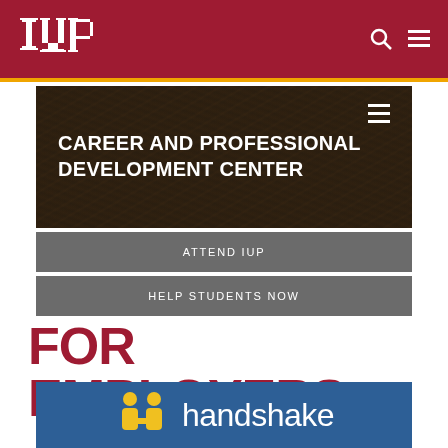IUP
[Figure (screenshot): IUP university website navigation bar with IUP logo on left, search and menu icons on right, dark red background with gold bottom border]
CAREER AND PROFESSIONAL DEVELOPMENT CENTER
ATTEND IUP
HELP STUDENTS NOW
FOR EMPLOYERS
[Figure (logo): Handshake logo on blue background - yellow icon of two people shaking hands with white handshake text]